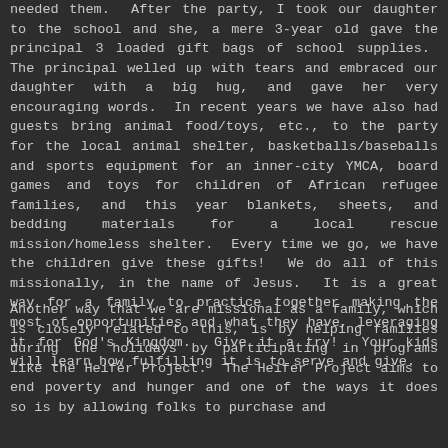needed them.  After the party, I took our daughter to the school and she, a mere 3-year old gave the principal 3 loaded gift bags of school supplies.  The principal welled up with tears and embraced our daughter with a big hug, and gave her very encouraging words.  In recent years we have also had guests bring animal food/toys, etc., to the party for the local animal shelter, basketballs/baseballs and sports equipment for an inner-city YMCA, board games and toys for children of African refugee families, and this year blankets, sheets, and bedding materials for a local rescue mission/homeless shelter.  Every time we go, we have the children give these gifts!  We do all of this missionally, in the name of Jesus.  It is a great way for a family to practice together making the most of opportunities and what they have, leveraging it for God's Kingdom.  Give it a try!  Your kids will learn how fulfilling it is to serve and give.
Another way that we are missional as a family, which is closely related to this, is by helping families during the holidays by participating in programs like the Heifer Project.  The Heifer Project aims to end poverty and hunger and one of the ways it does so is by allowing folks to purchase and